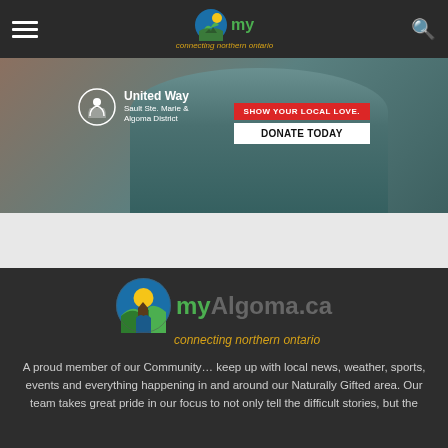my [logo] connecting northern ontario — navigation bar with hamburger menu and search icon
[Figure (photo): United Way Sault Ste. Marie & Algoma District banner advertisement showing a person in teal shirt with United Way logo and 'SHOW YOUR LOCAL LOVE. DONATE TODAY' call to action button]
[Figure (logo): myAlgoma.ca logo with circular landscape icon, 'my' in green, 'Algoma.ca' in grey, and 'connecting northern ontario' tagline in gold italic]
A proud member of our Community… keep up with local news, weather, sports, events and everything happening in and around our Naturally Gifted area. Our team takes great pride in our focus to not only tell the difficult stories, but the